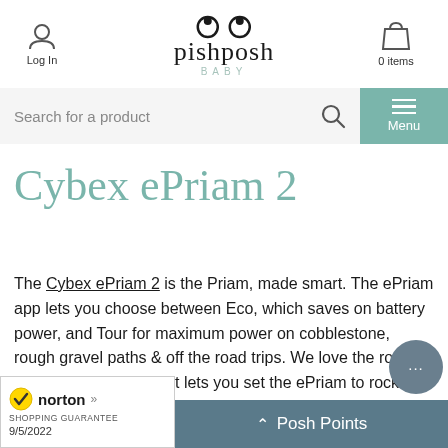pishposh BABY — Log In | 0 items | Menu
Search for a product
Cybex ePriam 2
The Cybex ePriam 2 is the Priam, made smart. The ePriam app lets you choose between Eco, which saves on battery power, and Tour for maximum power on cobblestone, rough gravel paths & off the road trips. We love the rocking feature on the app, that lets you set the ePriam to rock back and forth, soothing your baby. The rocking mode has 3 m... you can set a timer for how long you w... ck f...
[Figure (logo): Norton Shopping Guarantee badge with checkmark, 9/5/2022]
Posh Points